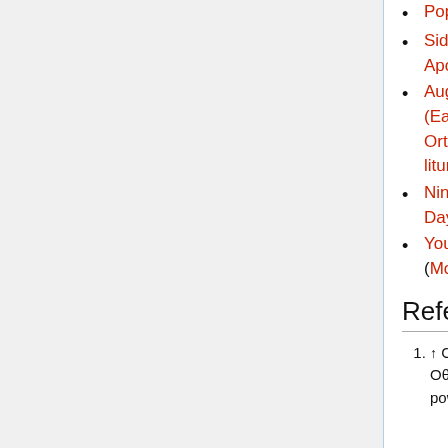Pope Pius X
Sidonius Apollinaris
August 21 (Eastern Orthodox liturgics)
Ninoy Aquino Day (Philippines)
Youth Day (Morocco)
References
↑ Chasiotis, Ioannis (1975). "Η κάμψη της Οθωμανικής δυνάμεως" [The decline of Ottoman power]. Ιστορία